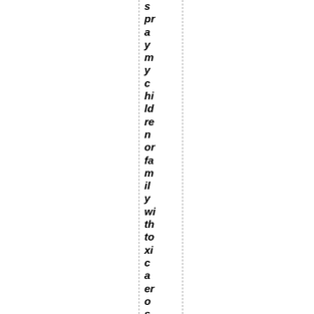s pray my children or family with toxic aerosols, but as